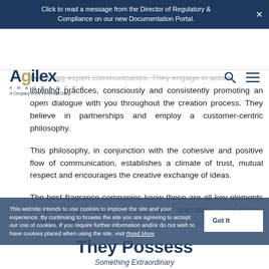Click to read a message from the Director of Regulatory & Compliance on our new Documentation Portal.
[Figure (logo): Agilex Fragrances logo - A Company of the Firmenich Group, with search and menu icons]
becoming expert communicators. They engage in active listening practices, consciously and consistently promoting an open dialogue with you throughout the creation process. They believe in partnerships and employ a customer-centric philosophy.
This philosophy, in conjunction with the cohesive and positive flow of communication, establishes a climate of trust, mutual respect and encourages the creative exchange of ideas.
The best fragrance companies know these are all key elements to producing superior scents and ultimately, long-lasting relationships.
This website intends to use cookies to improve the site and your experience. By continuing to browse the site you are agreeing to accept our use of cookies. If you require further information and/or do not wish to have cookies placed when using the site, visit Read More
They Possess